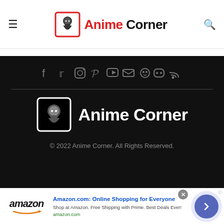Anime Corner — navigation header with hamburger menu, logo, and search icon
[Figure (logo): Anime Corner logo in header: red-bordered icon with anime girl silhouette, text 'Anime Corner' in red and black]
[Figure (infographic): Social media icons row on dark background: Facebook, Twitter, Instagram, Pinterest, YouTube, Email, Reddit, Discord, RSS]
[Figure (logo): Anime Corner footer logo: white icon with anime girl in square border, white text 'Anime Corner']
© 2022 Anime Corner. All Rights Reserved.
[Figure (screenshot): Amazon advertisement banner: Amazon logo, title 'Amazon.com: Online Shopping for Everyone', subtitle 'Shop at Amazon. Free Shipping with Prime. Best Deals Ever!', url 'amazon.com', close button, and blue arrow button]